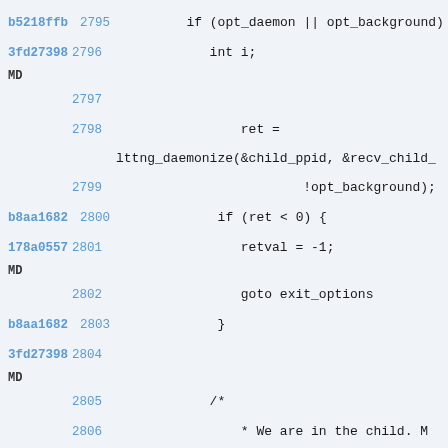Code diff view showing lines 2795-2807 of source code with commit hashes and line numbers. Lines include: if (opt_daemon || opt_background), int i;, ret = lttng_daemonize(&child_ppid, &recv_child_, !opt_background);, if (ret < 0) {, retval = -1;, goto exit_options, }, /*, * We are in the child. M all other file, * descriptors are closed case we are called with